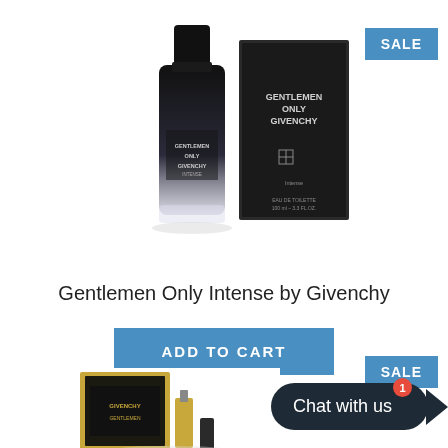[Figure (photo): Givenchy Gentlemen Only Intense perfume bottle (dark black/grey gradient) with product box beside it, on white background]
SALE
Gentlemen Only Intense by Givenchy
ADD TO CART
SALE
[Figure (photo): Givenchy perfume gift set with box and accessories, partially visible at bottom of page]
Chat with us